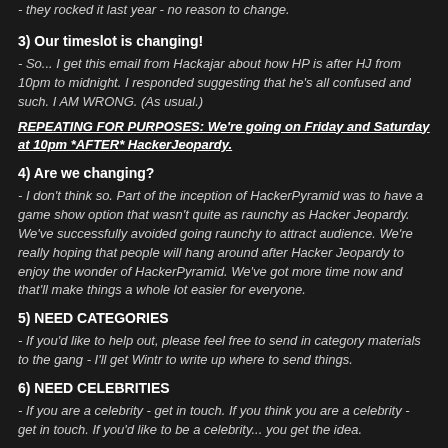- they rocked it last year - no reason to change.
3) Our timeslot is changing!
- So... I get this email from Hackajar about how HP is after HJ from 10pm to midnight. I responded suggesting that he's all confused and such. I AM WRONG. (As usual.)
REPEATING FOR PURPOSES: We're going on Friday and Saturday at 10pm *AFTER* HackerJeopardy.
4) Are we changing?
- I don't think so. Part of the inception of HackerPyramid was to have a game show option that wasn't quite as raunchy as Hacker Jeopardy. We've successfully avoided going raunchy to attract audience. We're really hoping that people will hang around after Hacker Jeopardy to enjoy the wonder of HackerPyramid. We've got more time now and that'll make things a whole lot easier for everyone.
5) NEED CATEGORIES
- If you'd like to help out, please feel free to send in category materials to the gang - I'll get Wintr to write up where to send things.
6) NEED CELEBRITIES
- If you are a celebrity - get in touch. If you think you are a celebrity - get in touch. If you'd like to be a celebrity... you get the idea.
7) Blackbadge?